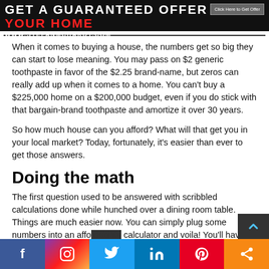[Figure (screenshot): Dark banner advertisement for stefanmchardy.com with white and red bold text and a 'Click Here to Get Offer' button]
When it comes to buying a house, the numbers get so big they can start to lose meaning. You may pass on $2 generic toothpaste in favor of the $2.25 brand-name, but zeros can really add up when it comes to a home. You can't buy a $225,000 home on a $200,000 budget, even if you do stick with that bargain-brand toothpaste and amortize it over 30 years.
So how much house can you afford? What will that get you in your local market? Today, fortunately, it's easier than ever to get those answers.
Doing the math
The first question used to be answered with scribbled calculations done while hunched over a dining room table. Things are much easier now. You can simply plug some numbers into an affordability calculator and voila! You'll have your answer. Of course, you
[Figure (screenshot): Social media sharing bar with Facebook, Instagram, Twitter, LinkedIn, Pinterest, and share icons]